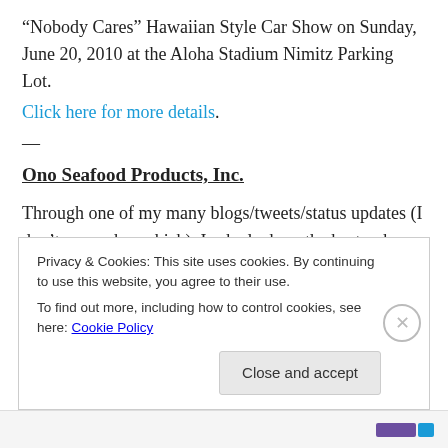“Nobody Cares” Hawaiian Style Car Show on Sunday, June 20, 2010 at the Aloha Stadium Nimitz Parking Lot. Click here for more details.
—
Ono Seafood Products, Inc.
Through one of my many blogs/tweets/status updates (I don’t remember which), I asked where the best poke place in town was. One of the names that came up regularly was Ono Seafood on Kapahulu.
Privacy & Cookies: This site uses cookies. By continuing to use this website, you agree to their use.
To find out more, including how to control cookies, see here: Cookie Policy
Close and accept